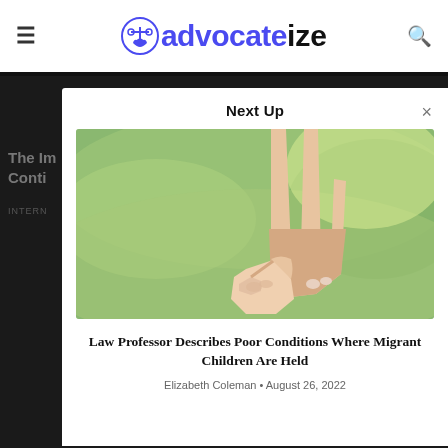advocatize
The Im... Conti...
INTERN...
Next Up
[Figure (photo): Child's hand holding adult's finger, outdoors with blurred green background]
Law Professor Describes Poor Conditions Where Migrant Children Are Held
Elizabeth Coleman • August 26, 2022